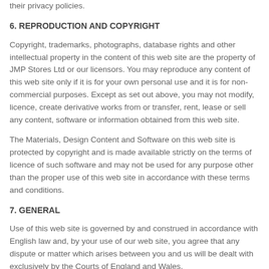their privacy policies.
6. REPRODUCTION AND COPYRIGHT
Copyright, trademarks, photographs, database rights and other intellectual property in the content of this web site are the property of JMP Stores Ltd or our licensors. You may reproduce any content of this web site only if it is for your own personal use and it is for non-commercial purposes. Except as set out above, you may not modify, licence, create derivative works from or transfer, rent, lease or sell any content, software or information obtained from this web site.
The Materials, Design Content and Software on this web site is protected by copyright and is made available strictly on the terms of licence of such software and may not be used for any purpose other than the proper use of this web site in accordance with these terms and conditions.
7. GENERAL
Use of this web site is governed by and construed in accordance with English law and, by your use of our web site, you agree that any dispute or matter which arises between you and us will be dealt with exclusively by the Courts of England and Wales.